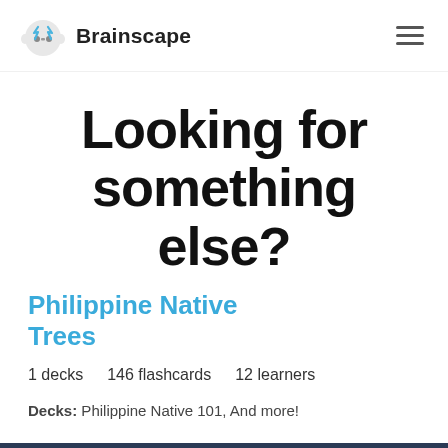Brainscape
Looking for something else?
Philippine Native Trees
1 decks   146 flashcards   12 learners
Decks: Philippine Native 101, And more!